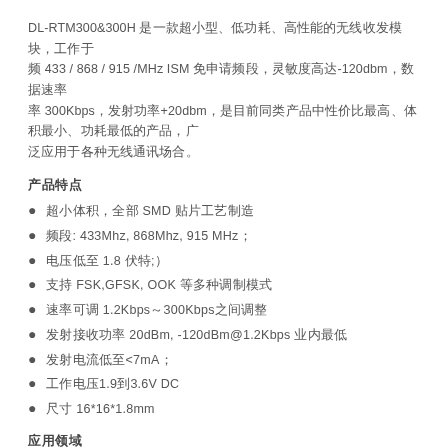DL-RTM300&300H 是一款超小型、低功耗、高性能的无线收发模块，工作于 433 / 868 / 915 /MHz ISM 免申请频段，灵敏度高达-120dbm，数据速率 300Kbps，发射功率+20dbm，是目前同类产品中性价比最高、体积最 小、功耗最低的产品，广泛应用于各种无线通讯场合。
产品特点
超小体积，全部 SMD 贴片工艺制造
频段: 433Mhz, 868Mhz, 915 MHz；
电压低至 1.8 伏特;
支持 FSK,GFSK, OOK 等多种调制模式
速率可调 1.2Kbps～300Kbps之间调整
发射接收功率 20dBm, -120dBm@1.2Kbps 业内最低
发射电流低至<7mA；
工作电压1.9到3.6V DC
尺寸 16*16*1.8mm
应用领域
ISM 无线传感器